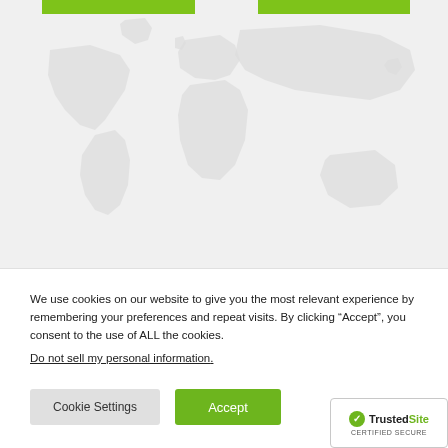[Figure (map): World map watermark shown in light gray behind two green horizontal bars at the top of the page]
We use cookies on our website to give you the most relevant experience by remembering your preferences and repeat visits. By clicking “Accept”, you consent to the use of ALL the cookies.
Do not sell my personal information.
Cookie Settings
Accept
[Figure (logo): TrustedSite CERTIFIED SECURE badge with green checkmark logo]